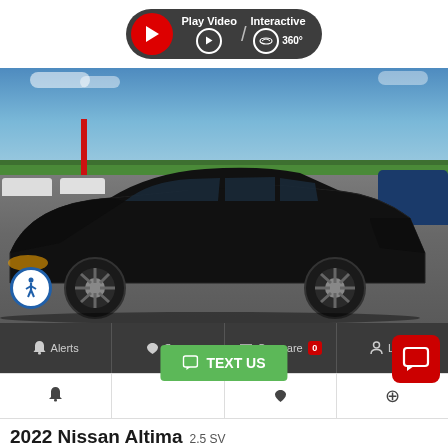[Figure (screenshot): Car dealership website screenshot showing a 2022 Nissan Altima listing with video/interactive 360 button, car photo, action bar with Alerts, Save, Compare, Login, Text Us button, and car title.]
Play Video / Interactive 360°
Alerts   Save   Compare 0   Login
TEXT US
2022 Nissan Altima 2.5 SV